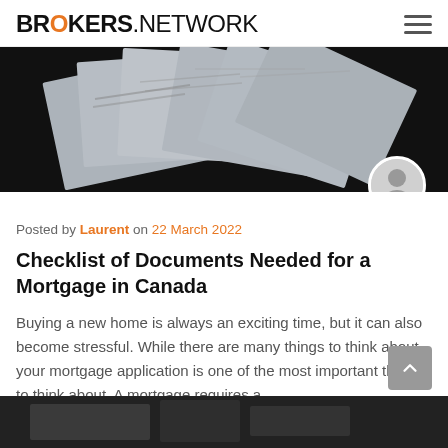BROKERS.NETWORK
[Figure (photo): Overhead photo of scattered papers/documents on a dark surface, with a circular avatar icon of a person in the bottom-right corner of the image]
Posted by Laurent on 22 March 2022
Checklist of Documents Needed for a Mortgage in Canada
Buying a new home is always an exciting time, but it can also become stressful. While there are many things to think about, your mortgage application is one of the most important things to think about. A mortgage requires a…
[Figure (photo): Partial view of a dark photo at the very bottom of the page, showing what appears to be a desk or table surface]